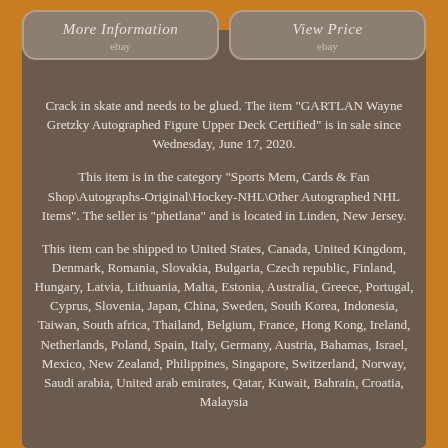[Figure (other): Two eBay-style button links: 'More Information ebay' and 'View Price ebay' with rounded rectangle borders]
Crack in skate and needs to be glued. The item "GARTLAN Wayne Gretzky Autographed Figure Upper Deck Certified" is in sale since Wednesday, June 17, 2020.
This item is in the category "Sports Mem, Cards & Fan Shop\Autographs-Original\Hockey-NHL\Other Autographed NHL Items". The seller is "phetlana" and is located in Linden, New Jersey.
This item can be shipped to United States, Canada, United Kingdom, Denmark, Romania, Slovakia, Bulgaria, Czech republic, Finland, Hungary, Latvia, Lithuania, Malta, Estonia, Australia, Greece, Portugal, Cyprus, Slovenia, Japan, China, Sweden, South Korea, Indonesia, Taiwan, South africa, Thailand, Belgium, France, Hong Kong, Ireland, Netherlands, Poland, Spain, Italy, Germany, Austria, Bahamas, Israel, Mexico, New Zealand, Philippines, Singapore, Switzerland, Norway, Saudi arabia, United arab emirates, Qatar, Kuwait, Bahrain, Croatia, Malaysia